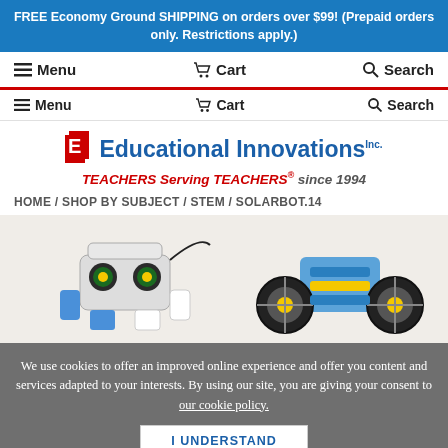FREE Economy Ground SHIPPING on orders over $99! (Prepaid orders only. Restrictions apply.)
≡ Menu    🛒 Cart    🔍 Search
≡ Menu    🛒 Cart    🔍 Search
[Figure (logo): Educational Innovations Inc. logo with red block icon and blue text, tagline: TEACHERS Serving TEACHERS® since 1994]
HOME / SHOP BY SUBJECT / STEM / SOLARBOT.14
[Figure (photo): Product photo showing two SOLARBOT.14 robot configurations: a robot with camera-like eyes and a wheeled robot]
We use cookies to offer an improved online experience and offer you content and services adapted to your interests. By using our site, you are giving your consent to our cookie policy.
I UNDERSTAND